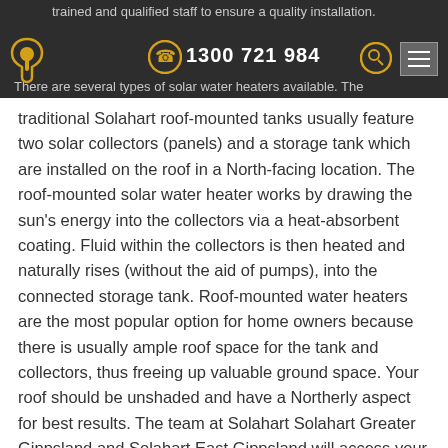trained and qualified staff to ensure a quality installation.
There are several types of solar water heaters available. The traditional Solahart roof-mounted tanks usually feature two solar collectors (panels) and a storage tank which are installed on the roof in a North-facing location. The roof-mounted solar water heater works by drawing the sun's energy into the collectors via a heat-absorbent coating. Fluid within the collectors is then heated and naturally rises (without the aid of pumps), into the connected storage tank. Roof-mounted water heaters are the most popular option for home owners because there is usually ample roof space for the tank and collectors, thus freeing up valuable ground space. Your roof should be unshaded and have a Northerly aspect for best results. The team at Solahart Solahart Greater Gippsland and Solahart East Gippsland will access your home's suitability for solar and provide you with a fully detailed quote.
A Solahart Streamline split system solar water heater operates with the tank located on the ground. The solar